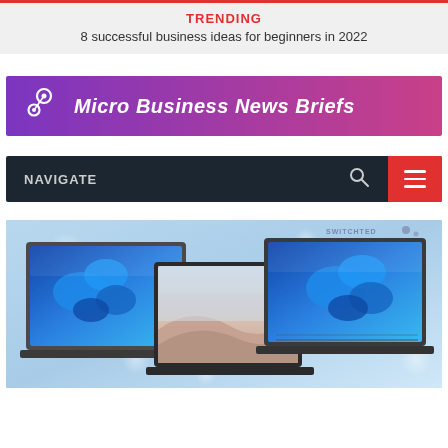TRENDING
8 successful business ideas for beginners in 2022
Micro Business News Briefs
NAVIGATE
[Figure (photo): Three laptops displaying Windows 11 wallpapers on a light blue bokeh background. The center laptop shows a desert dune scene, while the two flanking laptops show the blue Windows 11 flower wallpaper. A watermark reading 'SWITCHTED' appears in the top right corner.]